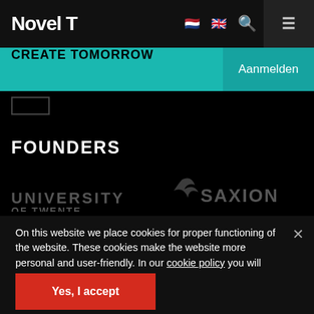Novel T — CREATE TOMORROW — Aanmelden
FOUNDERS
[Figure (logo): University of Twente logo (partial, grey text)]
[Figure (logo): Saxion logo (partial, grey) with stylized bird icon]
On this website we place cookies for proper functioning of the website. These cookies make the website more personal and user-friendly. In our cookie policy you will find which cookies we use.
Yes, I accept